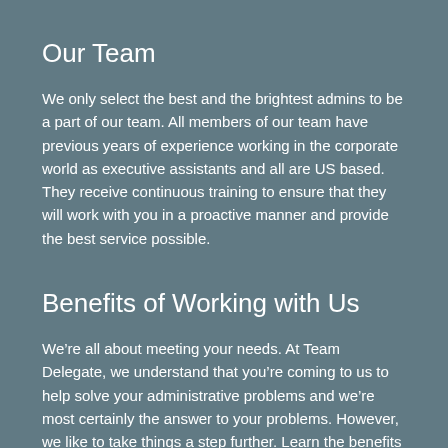Our Team
We only select the best and the brightest admins to be a part of our team. All members of our team have previous years of experience working in the corporate world as executive assistants and all are US based. They receive continuous training to ensure that they will work with you in a proactive manner and provide the best service possible.
Benefits of Working with Us
We’re all about meeting your needs. At Team Delegate, we understand that you’re coming to us to help solve your administrative problems and we’re most certainly the answer to your problems. However, we like to take things a step further. Learn the benefits of working with us.